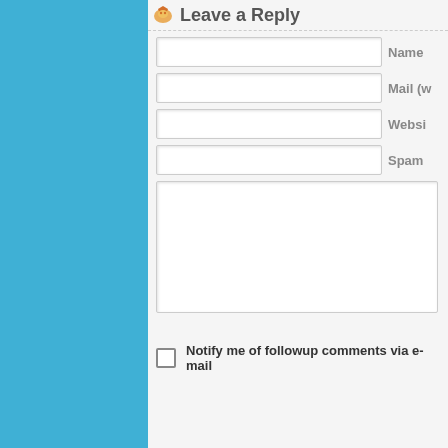Leave a Reply
Name
Mail (w
Websi
Spam
Notify me of followup comments via e-mail